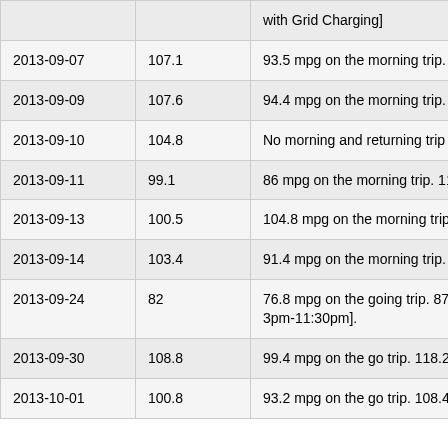| Date | MPG | Notes |
| --- | --- | --- |
|  |  | with Grid Charging] |
| 2013-09-07 | 107.1 | 93.5 mpg on the morning trip. 120.7 mpg... |
| 2013-09-09 | 107.6 | 94.4 mpg on the morning trip. It was ver... some redlights... 100% P&G |
| 2013-09-10 | 104.8 | No morning and returning trip data beca... |
| 2013-09-11 | 99.1 | 86 mpg on the morning trip. 112.2 mpg o... |
| 2013-09-13 | 100.5 | 104.8 mpg on the morning trip [highest m... returning trip. 100% P&G |
| 2013-09-14 | 103.4 | 91.4 mpg on the morning trip. 115.4 mpg... |
| 2013-09-24 | 82 | 76.8 mpg on the going trip. 87.2 mpg on... night driving for returning trip. [First com... to 3pm-11:30pm]. |
| 2013-09-30 | 108.8 | 99.4 mpg on the go trip. 118.2 mpg on th... |
| 2013-10-01 | 100.8 | 93.2 mpg on the go trip. 108.4 mpg on th... |